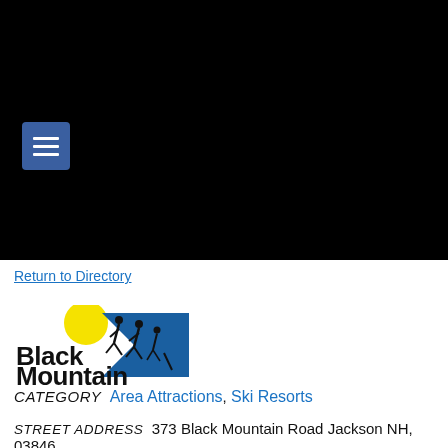[Figure (screenshot): Black navigation header bar with hamburger menu button (three horizontal white lines on blue square background)]
Return to Directory
[Figure (logo): Black Mountain ski resort logo with yellow sun, blue mountain shape, skier silhouettes, and bold text reading 'Black Mountain']
CATEGORY  Area Attractions, Ski Resorts
STREET ADDRESS  373 Black Mountain Road Jackson NH, 03846